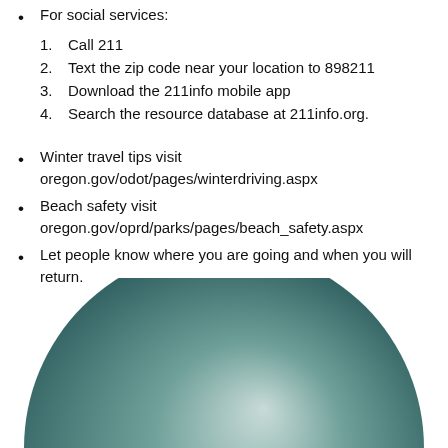For social services:
1. Call 211
2. Text the zip code near your location to 898211
3. Download the 211info mobile app
4. Search the resource database at 211info.org.
Winter travel tips visit oregon.gov/odot/pages/winterdriving.aspx
Beach safety visit oregon.gov/oprd/parks/pages/beach_safety.aspx
Let people know where you are going and when you will return.
[Figure (illustration): Partial view of a large circle/globe shape with a teal-to-light gradient, visible in the bottom portion of the page.]